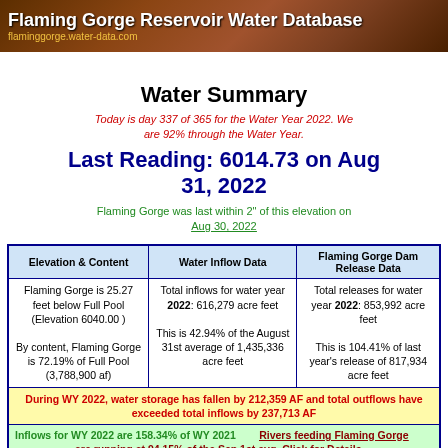Flaming Gorge Reservoir Water Database
flaminggorge.water-data.com
Water Summary
Today is day 337 of 365 for the Water Year 2022. We are 92% through the Water Year.
Last Reading: 6014.73 on Aug 31, 2022
Flaming Gorge was last within 2" of this elevation on Aug 30, 2022
| Elevation & Content | Water Inflow Data | Flaming Gorge Dam Release Data |
| --- | --- | --- |
| Flaming Gorge is 25.27 feet below Full Pool (Elevation 6040.00 )
By content, Flaming Gorge is 72.19% of Full Pool (3,788,900 af) | Total inflows for water year 2022: 616,279 acre feet
This is 42.94% of the August 31st average of 1,435,336 acre feet | Total releases for water year 2022: 853,992 acre feet
This is 104.41% of last year's release of 817,934 acre feet |
| During WY 2022, water storage has fallen by 212,359 AF and total outflows have exceeded total inflows by 237,713 AF |  |  |
| Inflows for WY 2022 are 158.34% of WY 2021   Rivers feeding Flaming Gorge are running at 94.15% of the Sep 1st avg. Click for Details |  |  |